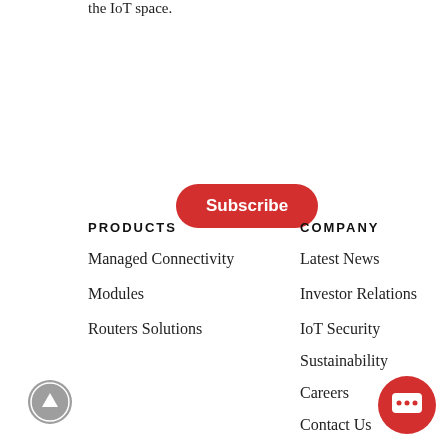the IoT space.
Subscribe
PRODUCTS
Managed Connectivity
Modules
Routers Solutions
COMPANY
Latest News
Investor Relations
IoT Security
Sustainability
Careers
Contact Us
SUPPORT
Source
Request Support
Request Repair
IOT RESOURCES
All Resources
Customer Stories
Blog